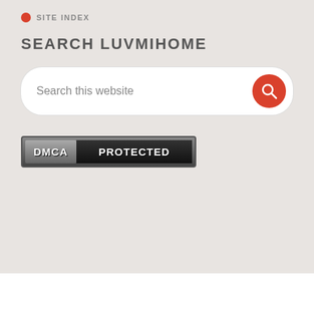SITE INDEX
SEARCH LUVMIHOME
Search this website
[Figure (logo): DMCA PROTECTED badge/logo with two-tone dark background]